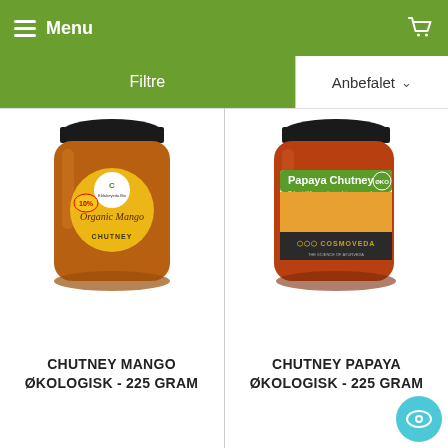Menu
Filtre
Anbefalet
[Figure (photo): Jar of Organic Mango Chutney with dark lid and orange/brown color, with a white circular label]
CHUTNEY MANGO ØKOLOGISK - 225 GRAM
[Figure (photo): Jar of Papaya Chutney from Cosmoveda with dark lid, showing fruit imagery on label]
CHUTNEY PAPAYA ØKOLOGISK - 225 GRAM